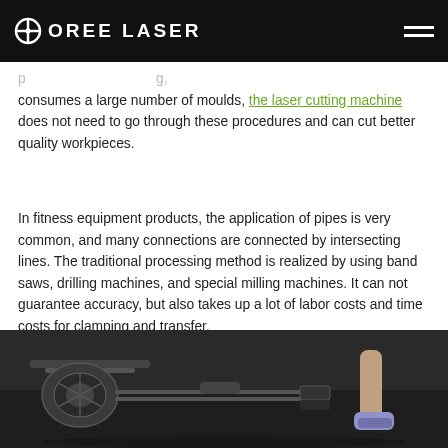OREE LASER
consumes a large number of moulds, the laser cutting machine does not need to go through these procedures and can cut better quality workpieces.
In fitness equipment products, the application of pipes is very common, and many connections are connected by intersecting lines. The traditional processing method is realized by using band saws, drilling machines, and special milling machines. It can not guarantee accuracy, but also takes up a lot of labor costs and time costs for clamping and transfer.
[Figure (photo): Photo of a rowing machine (fitness equipment) on a gym floor, with a person's legs visible in the background.]